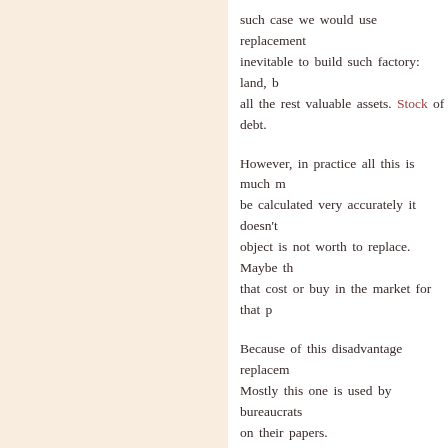such case we would use replacement cost inevitable to build such factory: land, b all the rest valuable assets. Stock of debt.
However, in practice all this is much m be calculated very accurately it doesn't object is not worth to replace. Maybe th that cost or buy in the market for that p
Because of this disadvantage replacem Mostly this one is used by bureaucrats on their papers.